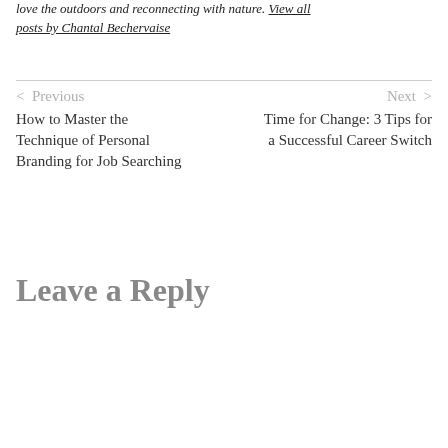love the outdoors and reconnecting with nature. View all posts by Chantal Bechervaise
< Previous
How to Master the Technique of Personal Branding for Job Searching
Next >
Time for Change: 3 Tips for a Successful Career Switch
Leave a Reply